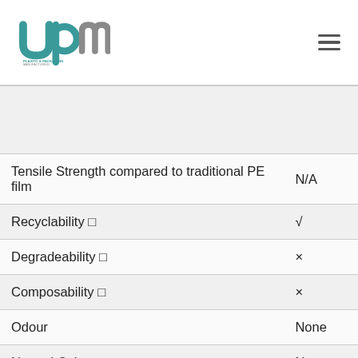UPM Plastic & Packaging Manufacturing logo and navigation
| Property | Value |
| --- | --- |
|  |  |
| Tensile Strength compared to traditional PE film | N/A |
| Recyclability 🛇 | √ |
| Degradeability 🛇 | × |
| Composability 🛇 | × |
| Odour | None |
| Natural Color | None |
| Texture | Shiny(… |
| Color availability | Any P… |